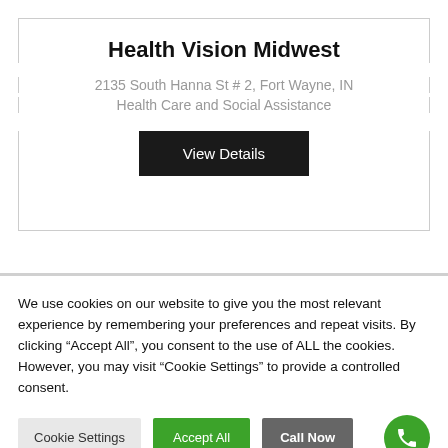Health Vision Midwest
2135 South Hanna St # 2, Fort Wayne, IN
Health Care and Social Assistance
View Details
We use cookies on our website to give you the most relevant experience by remembering your preferences and repeat visits. By clicking “Accept All”, you consent to the use of ALL the cookies. However, you may visit “Cookie Settings” to provide a controlled consent.
Cookie Settings
Accept All
Call Now